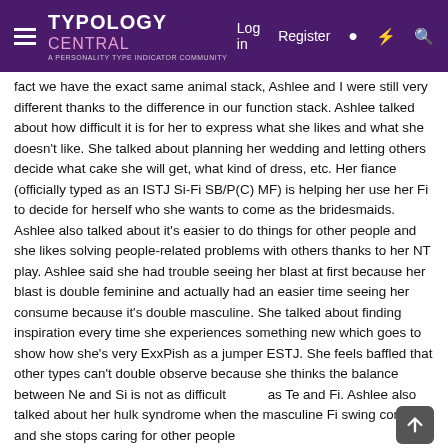TYPOLOGY CENTRAL — A PERSONALITY TYPE INDICATOR COMMUNITY | Log in | Register
(…) fact we have the exact same animal stack, Ashlee and I were still very different thanks to the difference in our function stack. Ashlee talked about how difficult it is for her to express what she likes and what she doesn't like. She talked about planning her wedding and letting others decide what cake she will get, what kind of dress, etc. Her fiance (officially typed as an ISTJ Si-Fi SB/P(C) MF) is helping her use her Fi to decide for herself who she wants to come as the bridesmaids. Ashlee also talked about it's easier to do things for other people and she likes solving people-related problems with others thanks to her NT play. Ashlee said she had trouble seeing her blast at first because her blast is double feminine and actually had an easier time seeing her consume because it's double masculine. She talked about finding inspiration every time she experiences something new which goes to show how she's very ExxPish as a jumper ESTJ. She feels baffled that other types can't double observe because she thinks the balance between Ne and Si is not as difficult as Te and Fi. Ashlee also talked about her hulk syndrome when the masculine Fi swing comes and she stops caring for other people